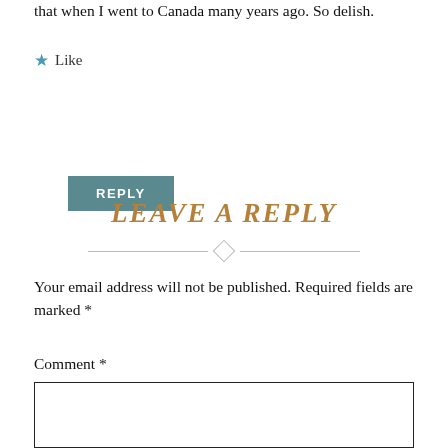that when I went to Canada many years ago. So delish.
★ Like
REPLY
LEAVE A REPLY
Your email address will not be published. Required fields are marked *
Comment *